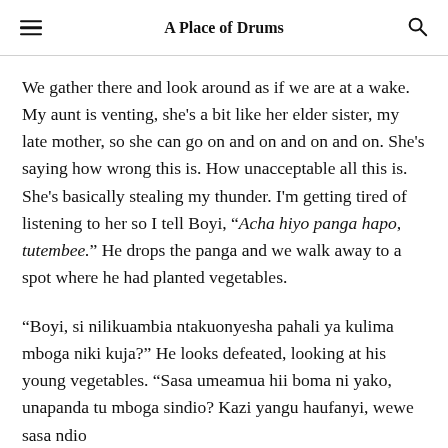A Place of Drums
We gather there and look around as if we are at a wake. My aunt is venting, she's a bit like her elder sister, my late mother, so she can go on and on and on and on. She's saying how wrong this is. How unacceptable all this is. She's basically stealing my thunder. I'm getting tired of listening to her so I tell Boyi, “Acha hiyo panga hapo, tutembee.” He drops the panga and we walk away to a spot where he had planted vegetables.
“Boyi, si nilikuambia ntakuonyesha pahali ya kulima mboga niki kuja?” He looks defeated, looking at his young vegetables. “Sasa umeamua hii boma ni yako, unapanda tu mboga sindio? Kazi yangu haufanyi, wewe sasa ndio